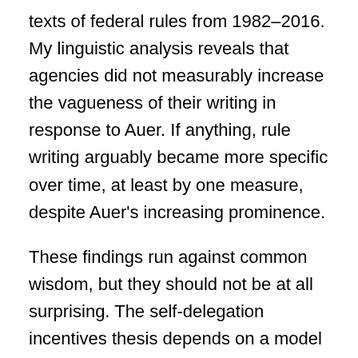texts of federal rules from 1982–2016. My linguistic analysis reveals that agencies did not measurably increase the vagueness of their writing in response to Auer. If anything, rule writing arguably became more specific over time, at least by one measure, despite Auer's increasing prominence.
These findings run against common wisdom, but they should not be at all surprising. The self-delegation incentives thesis depends on a model of agency behavior that is inconsistent with what is known about the institutional pressures and cognitive horizons that cause agencies to pursue clarity in rule writing. By revealing the failures of theoretical predictions